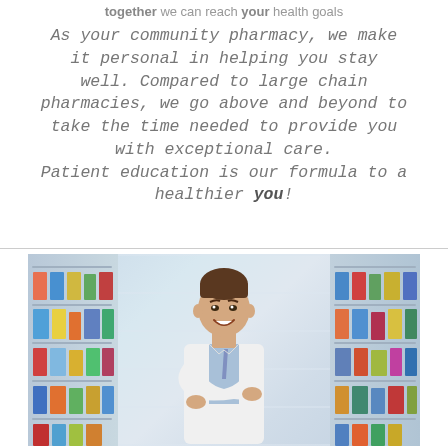together we can reach your health goals
As your community pharmacy, we make it personal in helping you stay well. Compared to large chain pharmacies, we go above and beyond to take the time needed to provide you with exceptional care. Patient education is our formula to a healthier you!
[Figure (photo): A smiling male pharmacist in a white coat with arms crossed, standing in front of pharmacy shelves stocked with medications and health products.]